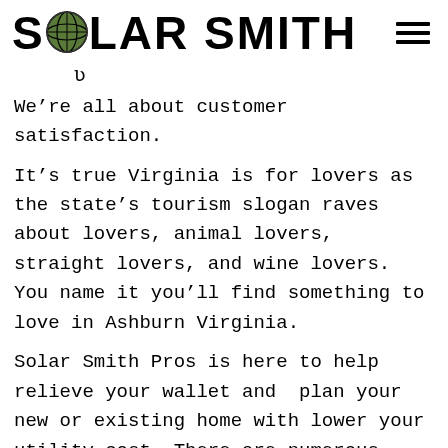SOLAR SMITH
We’re all about customer satisfaction.
It’s true Virginia is for lovers as the state’s tourism slogan raves about lovers, animal lovers, straight lovers, and wine lovers. You name it you’ll find something to love in Ashburn Virginia.
Solar Smith Pros is here to help relieve your wallet and  plan your new or existing home with lower your utility cost. There are numerous reasons to go Solar. We are a solar company who truly cares about proper planning, not just to see how many panels we can sell you, but to properly provide you the facts.
Did you know we have software to provide a detailed digitally model estimate which includes showing your